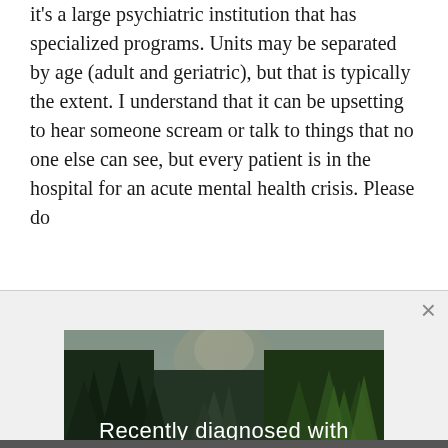it's a large psychiatric institution that has specialized programs. Units may be separated by age (adult and geriatric), but that is typically the extent. I understand that it can be upsetting to hear someone scream or talk to things that no one else can see, but every patient is in the hospital for an acute mental health crisis. Please do
[Figure (photo): Forest and river scene advertisement for bipolar disorder ebook. Text reads 'Recently diagnosed with bipolar disorder? DOWNLOAD OUR FREE EBOOK NOW.' with a white underline beneath the bottom text.]
advertisement